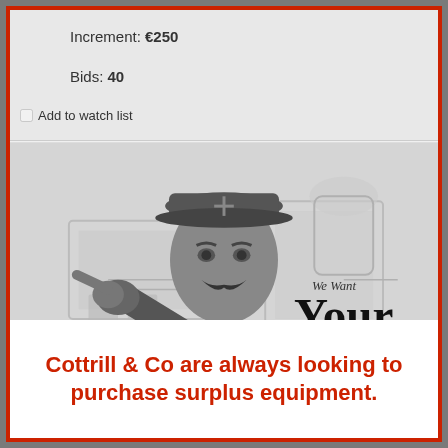Increment: €250
Bids: 40
Add to watch list
[Figure (illustration): Kitchener 'We Want Your Surplus Equipment' illustration: a military officer in uniform pointing at the viewer, overlaid with text 'We Want Your Surplus Equipment', with laboratory equipment in the background.]
Cottrill & Co are always looking to purchase surplus equipment.